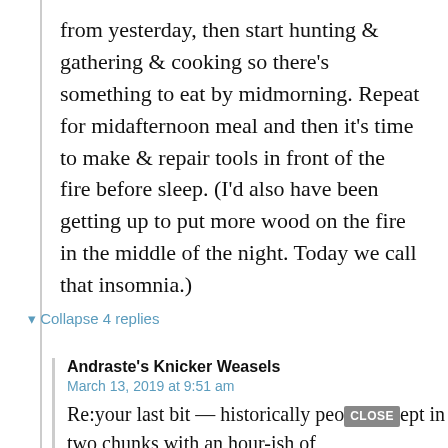from yesterday, then start hunting & gathering & cooking so there's something to eat by midmorning. Repeat for midafternoon meal and then it's time to make & repair tools in front of the fire before sleep. (I'd also have been getting up to put more wood on the fire in the middle of the night. Today we call that insomnia.)
▾ Collapse 4 replies
Andraste's Knicker Weasels
March 13, 2019 at 9:51 am
Re:your last bit — historically people slept in two chunks with an hour-ish of wakefulness in between. Sounds like further